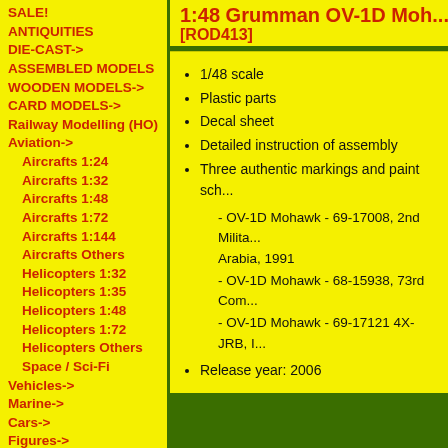1:48 Grumman OV-1D Mohawk [ROD413]
SALE!
ANTIQUITIES
DIE-CAST->
ASSEMBLED MODELS
WOODEN MODELS->
CARD MODELS->
Railway Modelling (HO)
Aviation->
Aircrafts 1:24
Aircrafts 1:32
Aircrafts 1:48
Aircrafts 1:72
Aircrafts 1:144
Aircrafts Others
Helicopters 1:32
Helicopters 1:35
Helicopters 1:48
Helicopters 1:72
Helicopters Others
Space / Sci-Fi
Vehicles->
Marine->
Cars->
Figures->
1/48 scale
Plastic parts
Decal sheet
Detailed instruction of assembly
Three authentic markings and paint schemes: - OV-1D Mohawk - 69-17008, 2nd Military Intelligence Battalion, Saudi Arabia, 1991 - OV-1D Mohawk - 68-15938, 73rd Combat Intelligence Company - OV-1D Mohawk - 69-17121 4X-JRB, Israel
Release year: 2006
We strongly recommend!